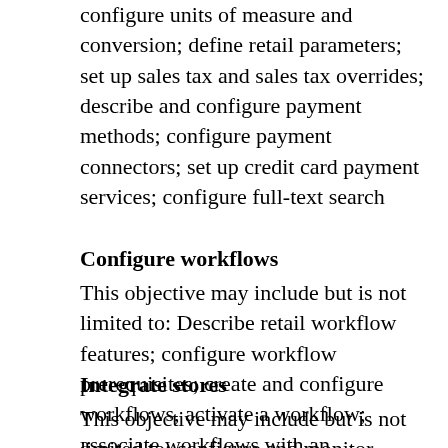configure units of measure and conversion; define retail parameters; set up sales tax and sales tax overrides; describe and configure payment methods; configure payment connectors; set up credit card payment services; configure full-text search
Configure workflows
This objective may include but is not limited to: Describe retail workflow features; configure workflow prerequisites; create and configure workflows, activate a workflow; associate workflows with an organization; monitor workflow status
Integrate stores
This objective may include but is not limited to: configure and monitor Commerce Data